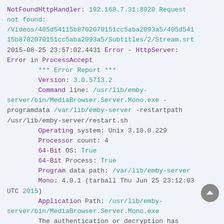NotFoundHttpHandler: 192.168.7.31:8920 Request not found: /Videos/405d54115b8702070151cc5aba2093a5/405d54115b8702070151cc5aba2093a5/Subtitles/2/Stream.srt
2015-08-25 23:57:02.4431 Error - HttpServer: Error in ProcessAccept
    *** Error Report ***
    Version: 3.0.5713.2
    Command line: /usr/lib/emby-server/bin/MediaBrowser.Server.Mono.exe -programdata /var/lib/emby-server -restartpath /usr/lib/emby-server/restart.sh
    Operating system: Unix 3.10.0.229
    Processor count: 4
    64-Bit OS: True
    64-Bit Process: True
    Program data path: /var/lib/emby-server
    Mono: 4.0.1 (tarball Thu Jun 25 23:12:03 UTC 2015)
    Application Path: /usr/lib/emby-server/bin/MediaBrowser.Server.Mono.exe
    The authentication or decryption has